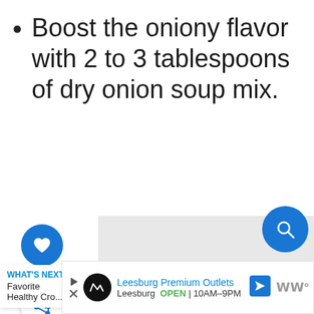Boost the oniony flavor with 2 to 3 tablespoons of dry onion soup mix.
[Figure (other): Gray placeholder image area on right side]
15.1K
WHAT'S NEXT → Favorite Healthy Cro...
Leesburg Premium Outlets Leesburg OPEN 10AM–9PM